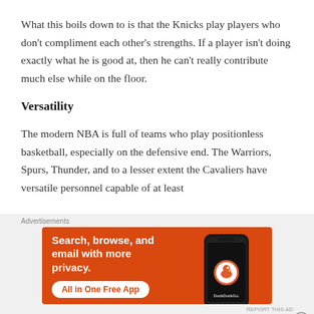What this boils down to is that the Knicks play players who don't compliment each other's strengths. If a player isn't doing exactly what he is good at, then he can't really contribute much else while on the floor.
Versatility
The modern NBA is full of teams who play positionless basketball, especially on the defensive end. The Warriors, Spurs, Thunder, and to a lesser extent the Cavaliers have versatile personnel capable of at least
Advertisements
[Figure (other): DuckDuckGo advertisement banner with orange background. Text reads: Search, browse, and email with more privacy. All in One Free App. Features DuckDuckGo logo and a smartphone image.]